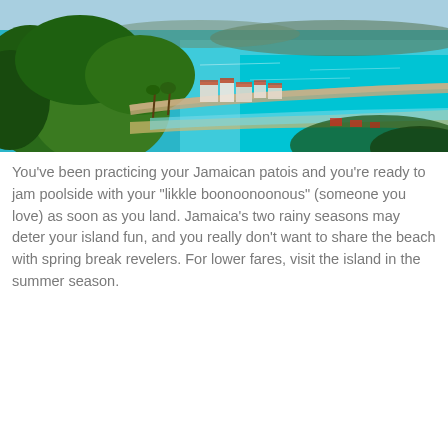[Figure (photo): Aerial view of a Jamaican coastal town with lush green trees in the foreground, a road running along the coast, buildings with terracotta roofs, and vivid turquoise-blue Caribbean sea in the background under a light blue sky.]
You've been practicing your Jamaican patois and you're ready to jam poolside with your "likkle boonoonoonous" (someone you love) as soon as you land. Jamaica's two rainy seasons may deter your island fun, and you really don't want to share the beach with spring break revelers. For lower fares, visit the island in the summer season.